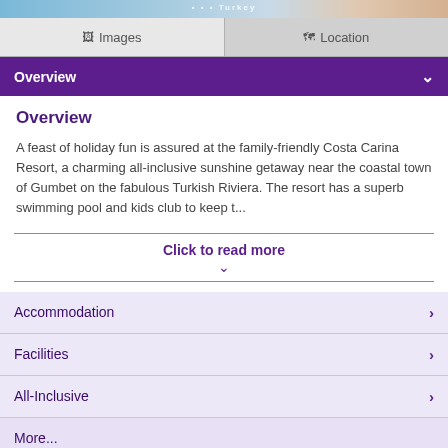[Figure (screenshot): Top image bar with travel/resort imagery, partially visible]
Images | Location
Overview
Overview
A feast of holiday fun is assured at the family-friendly Costa Carina Resort, a charming all-inclusive sunshine getaway near the coastal town of Gumbet on the fabulous Turkish Riviera. The resort has a superb swimming pool and kids club to keep t...
Click to read more
Accommodation
Facilities
All-Inclusive
More...
Departure Airport